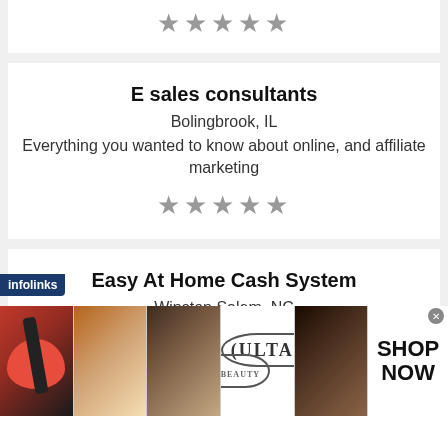[Figure (other): Five star rating (grey stars) for first listing (partial, top of page)]
E sales consultants
Bolingbrook, IL
Everything you wanted to know about online, and affiliate marketing
[Figure (other): Five grey star rating for E sales consultants]
Easy At Home Cash System
Winston Salem, NC
Hiring in our DATA ENTRY division
[Figure (other): Infolinks advertisement banner with cosmetics images (lips, brush, eye, ULTA logo, eye makeup, SHOP NOW). Has close button.]